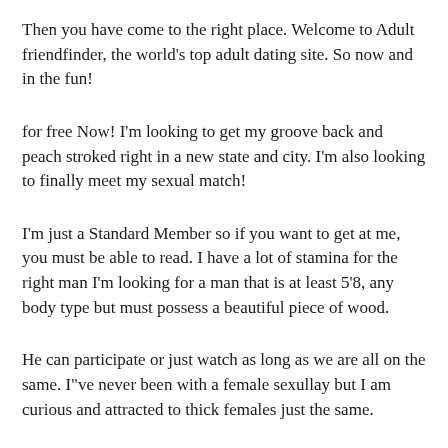Then you have come to the right place. Welcome to Adult friendfinder, the world's top adult dating site. So now and in the fun!
for free Now! I'm looking to get my groove back and peach stroked right in a new state and city. I'm also looking to finally meet my sexual match!
I'm just a Standard Member so if you want to get at me, you must be able to read. I have a lot of stamina for the right man I'm looking for a man that is at least 5'8, any body type but must possess a beautiful piece of wood.
He can participate or just watch as long as we are all on the same. I"ve never been with a female sexullay but I am curious and attracted to thick females just the same.